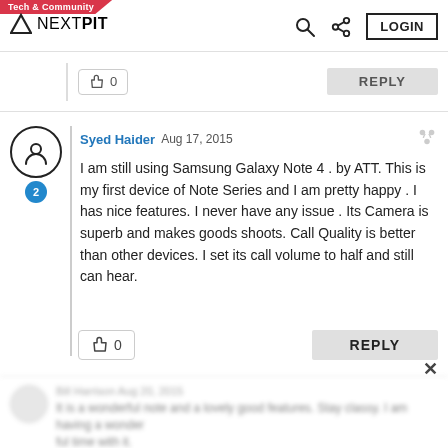Tech & Community | NEXTPIT | LOGIN
[Figure (screenshot): Previous comment stub with like count 0 and REPLY button]
Syed Haider Aug 17, 2015
I am still using Samsung Galaxy Note 4 . by ATT. This is my first device of Note Series and I am pretty happy . I has nice features. I never have any issue . Its Camera is superb and makes goods shoots. Call Quality is better than other devices. I set its call volume to half and still can hear.
[Figure (screenshot): Blurred comment at the bottom of the page]